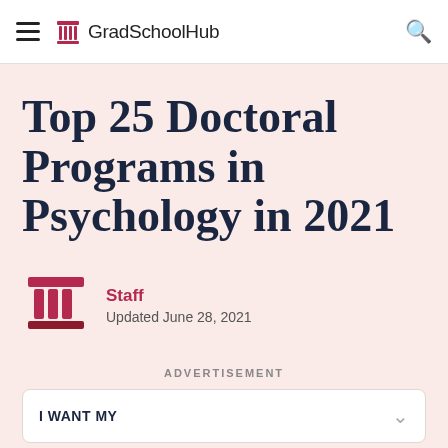GradSchoolHub
Top 25 Doctoral Programs in Psychology in 2021
Staff
Updated June 28, 2021
ADVERTISEMENT
I WANT MY